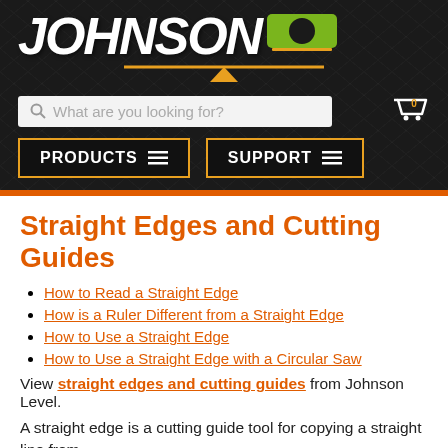[Figure (logo): Johnson Level logo with white italic bold text 'JOHNSON' and green/orange icon on dark textured background]
What are you looking for? [search bar] | 0 [cart icon] | PRODUCTS | SUPPORT
Straight Edges and Cutting Guides
How to Read a Straight Edge
How is a Ruler Different from a Straight Edge
How to Use a Straight Edge
How to Use a Straight Edge with a Circular Saw
View straight edges and cutting guides from Johnson Level.
A straight edge is a cutting guide tool for copying a straight line from